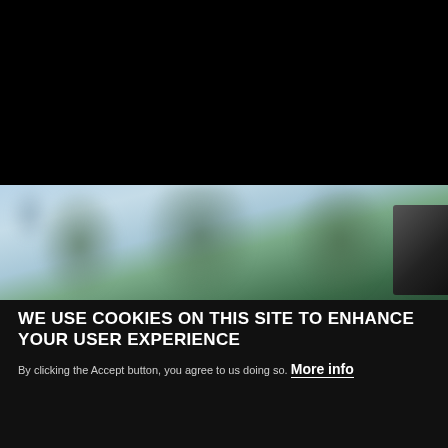[Figure (photo): Top half of page showing a dark/black area above and a blurred outdoor photo with trees and sky below, partially obscured by a cookie consent banner.]
WE USE COOKIES ON THIS SITE TO ENHANCE YOUR USER EXPERIENCE
By clicking the Accept button, you agree to us doing so. More info
OK, I agree